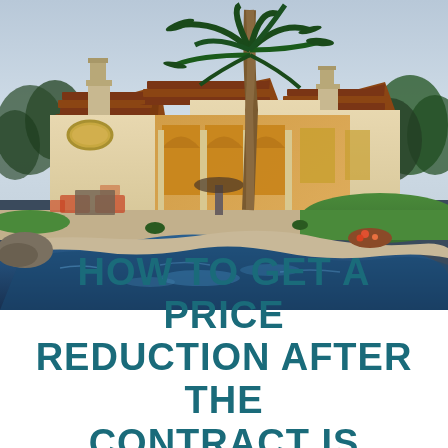[Figure (photo): Aerial/ground-level exterior photo of a luxury Mediterranean-style home with arched colonnades, terracotta tile roof, tall palm tree in center, lush green lawn, and a large freeform swimming pool in the foreground reflecting the home's warm interior lighting at dusk/twilight.]
HOW TO GET A PRICE REDUCTION AFTER THE CONTRACT IS SIGNED